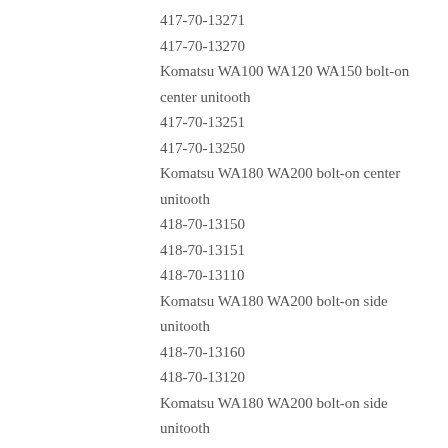417-70-13271
417-70-13270
Komatsu WA100 WA120 WA150 bolt-on center unitooth
417-70-13251
417-70-13250
Komatsu WA180 WA200 bolt-on center unitooth
418-70-13150
418-70-13151
418-70-13110
Komatsu WA180 WA200 bolt-on side unitooth
418-70-13160
418-70-13120
Komatsu WA180 WA200 bolt-on side unitooth
418-70-13170
418-70-13130
Komatsu WA180 WA200 bolt-on side adapter
418-847-1160
418-70-13120
Komatsu WA180 WA200 bolt-on side adapter